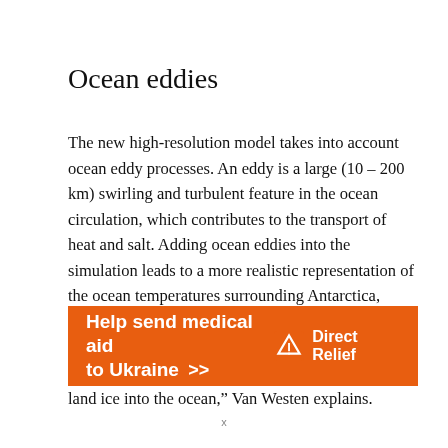Ocean eddies
The new high-resolution model takes into account ocean eddy processes. An eddy is a large (10 – 200 km) swirling and turbulent feature in the ocean circulation, which contributes to the transport of heat and salt. Adding ocean eddies into the simulation leads to a more realistic representation of the ocean temperatures surrounding Antarctica, which is key for determining the mass loss of the Antarctic ice sheet. “The Antarctic ice sheet is surrounded by ice shelves which reduce the flow of land ice into the ocean,” Van Westen explains.
[Figure (other): Orange advertisement banner for Direct Relief: 'Help send medical aid to Ukraine >>' with DirectRelief logo on the right]
x